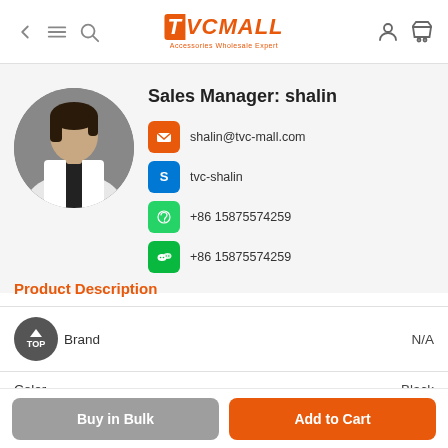TVCMALL - Accessories Wholesale Expert
[Figure (photo): Circular avatar photo of Sales Manager shalin, woman in white blazer against grey background]
Sales Manager: shalin
shalin@tvc-mall.com
tvc-shalin
+86 15875574259
+86 15875574259
Product Description
| Attribute | Value |
| --- | --- |
| Brand | N/A |
| Color | Black |
| Material | TPU |
Buy in Bulk
Add to Cart